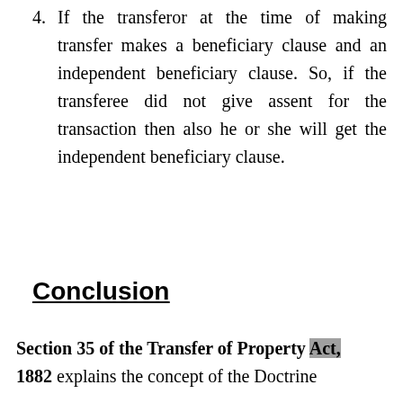4. If the transferor at the time of making transfer makes a beneficiary clause and an independent beneficiary clause. So, if the transferee did not give assent for the transaction then also he or she will get the independent beneficiary clause.
Conclusion
Section 35 of the Transfer of Property Act, 1882 explains the concept of the Doctrine